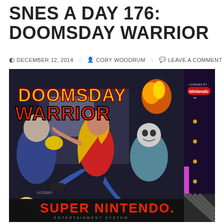SNES A DAY 176: DOOMSDAY WARRIOR
DECEMBER 12, 2014  CORY WOODRUM  LEAVE A COMMENT
[Figure (photo): SNES game box art for Doomsday Warrior, showing a female fighter with long blonde hair kicking robot enemies, with the title 'DOOMSDAY WARRIOR' in large stylized letters and 'SUPER NINTENDO ENTERTAINMENT SYSTEM' at the bottom. Licensed by Nintendo logo in top right corner.]